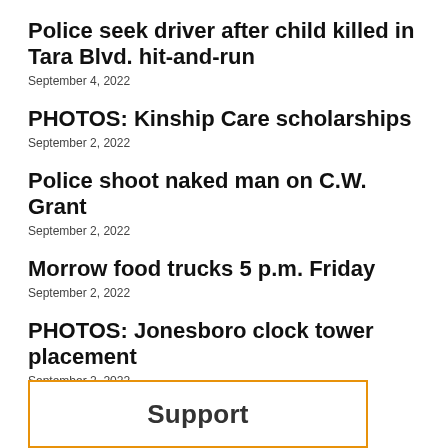Police seek driver after child killed in Tara Blvd. hit-and-run
September 4, 2022
PHOTOS: Kinship Care scholarships
September 2, 2022
Police shoot naked man on C.W. Grant
September 2, 2022
Morrow food trucks 5 p.m. Friday
September 2, 2022
PHOTOS: Jonesboro clock tower placement
September 2, 2022
Support